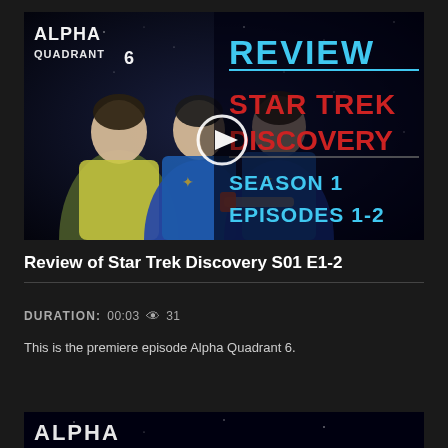[Figure (screenshot): Video thumbnail for Alpha Quadrant 6 review of Star Trek Discovery Season 1 Episodes 1-2. Dark space background with three people in Star Trek costumes on the left, and text on the right reading REVIEW, STAR TREK DISCOVERY, SEASON 1 EPISODES 1-2. A play button circle is visible in the center.]
Review of Star Trek Discovery S01 E1-2
DURATION: 00:03  31
This is the premiere episode Alpha Quadrant 6.
[Figure (screenshot): Partial bottom thumbnail showing Alpha text on dark space background.]